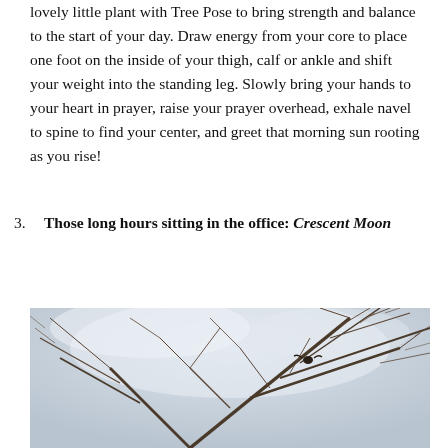lovely little plant with Tree Pose to bring strength and balance to the start of your day. Draw energy from your core to place one foot on the inside of your thigh, calf or ankle and shift your weight into the standing leg. Slowly bring your hands to your heart in prayer, raise your prayer overhead, exhale navel to spine to find your center, and greet that morning sun rooting as you rise!
3. Those long hours sitting in the office: Crescent Moon
[Figure (photo): Photograph of bare winter tree branches against a pale overcast sky, with a small dark bird visible among the branches.]